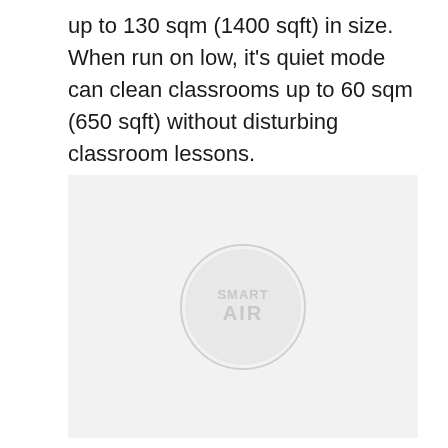up to 130 sqm (1400 sqft) in size. When run on low, it's quiet mode can clean classrooms up to 60 sqm (650 sqft) without disturbing classroom lessons.
[Figure (logo): Light grey rectangular image area with a faint Smart Air circular logo watermark centered in the lower half]